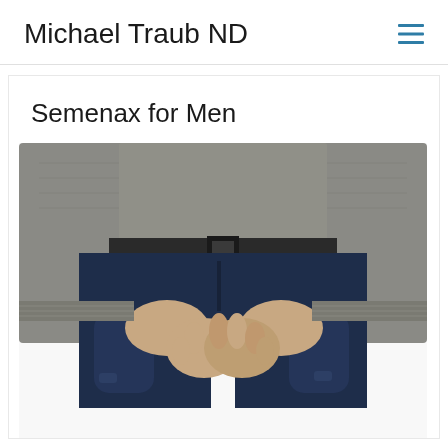Michael Traub ND
Semenax for Men
[Figure (photo): Man standing with hands clasped in front of groin area, wearing blue jeans and a grey knit sweater, white background]